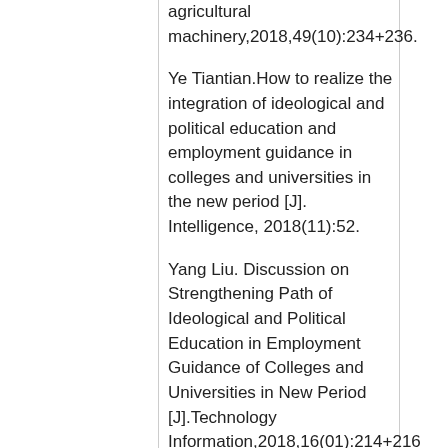agricultural machinery,2018,49(10):234+236.
Ye Tiantian.How to realize the integration of ideological and political education and employment guidance in colleges and universities in the new period [J]. Intelligence, 2018(11):52.
Yang Liu. Discussion on Strengthening Path of Ideological and Political Education in Employment Guidance of Colleges and Universities in New Period [J].Technology Information,2018,16(01):214+216
Wang Ling, Zhu Wenxing.On the Integration of Ideological and Political Education and Employment Guidance